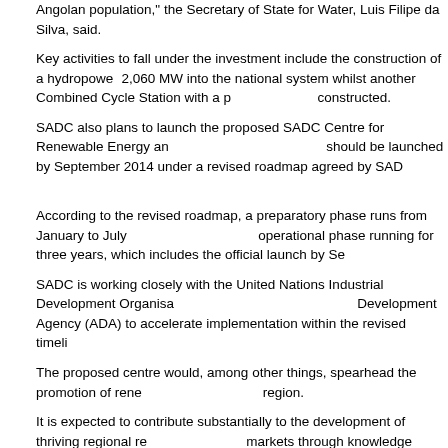Angolan population," the Secretary of State for Water, Luis Filipe da Silva, said.
Key activities to fall under the investment include the construction of a hydropower station injecting 2,060 MW into the national system whilst another Combined Cycle Station with a power capacity is to be constructed.
SADC also plans to launch the proposed SADC Centre for Renewable Energy and Energy Efficiency which should be launched by September 2014 under a revised roadmap agreed by SADC member states.
According to the revised roadmap, a preparatory phase runs from January to July 2014, followed by an operational phase running for three years, which includes the official launch by September 2014.
SADC is working closely with the United Nations Industrial Development Organisation (UNIDO) and the Austrian Development Agency (ADA) to accelerate implementation within the revised timeline.
The proposed centre would, among other things, spearhead the promotion of renewable energy in the region.
It is expected to contribute substantially to the development of thriving regional renewable energy markets through knowledge sharing and technical advice in the areas of policy and regulation, institutional capacity development, as well as investment promotion.
It has been agreed that the centre should be an independent SADC institution that is funded by all SADC member states for sustainability purposes.
Such a development would give the centre more authority to spearhead efforts to promote renewable energy sources in the region.
Various cooperating partners such as UNIDO and ADA have pledged to provide financial support for three years. After that, the centre should be self-sustaining.
The location of the centre is yet to be decided although a number of SADC countries have expressed interest.
Establishment of the SACREE is expected to see a gradual increase in the uptake of renewable energy.